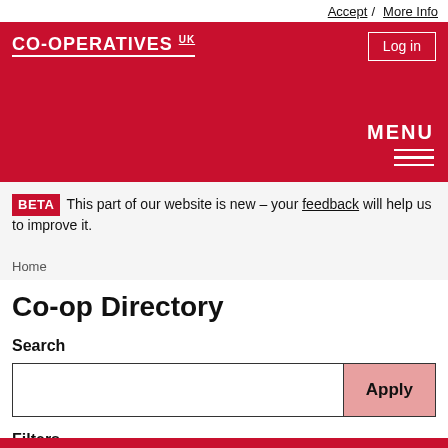Accept / More info
CO-OPERATIVES UK  Log in  MENU
BETA This part of our website is new – your feedback will help us to improve it.
Home
Co-op Directory
Search
Apply
Filters